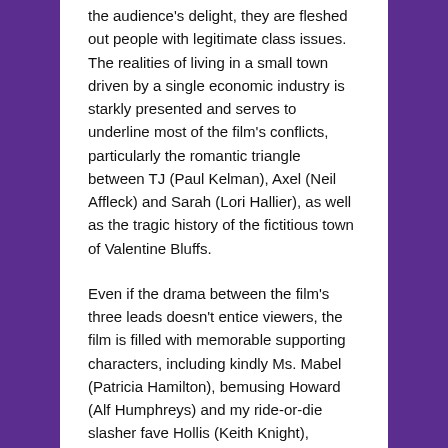the audience's delight, they are fleshed out people with legitimate class issues. The realities of living in a small town driven by a single economic industry is starkly presented and serves to underline most of the film's conflicts, particularly the romantic triangle between TJ (Paul Kelman), Axel (Neil Affleck) and Sarah (Lori Hallier), as well as the tragic history of the fictitious town of Valentine Bluffs.
Even if the drama between the film's three leads doesn't entice viewers, the film is filled with memorable supporting characters, including kindly Ms. Mabel (Patricia Hamilton), bemusing Howard (Alf Humphreys) and my ride-or-die slasher fave Hollis (Keith Knight), arguably the most lovable character in any 80s slasher.
Throw in some truly epic kills, including Mabel's laundromat death, the sexy pick-axe through the heart opening and, of course, the incomparable head through the shower faucet, and a great, authentic costume for killer "Harry Warden" (dancer/stuntman Peter Cowper) and My Bloody Valentine is